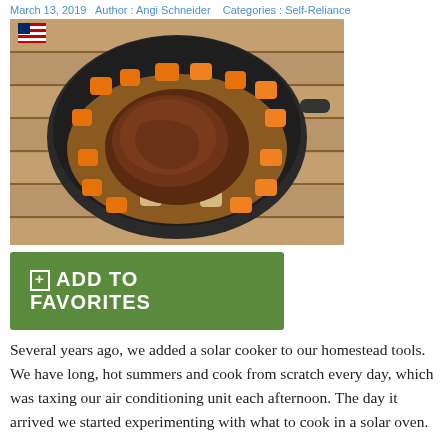March 13, 2019   Author : Angi Schneider   Categories : Self-Reliance
[Figure (photo): A dutch oven or dark pot containing a roasted meat (appears to be a pot roast or similar), surrounded by chopped carrots and other vegetables, placed on wooden slats outdoors. An American flag is visible in the top left corner.]
⊞ ADD TO FAVORITES
Several years ago, we added a solar cooker to our homestead tools. We have long, hot summers and cook from scratch every day, which was taxing our air conditioning unit each afternoon. The day it arrived we started experimenting with what to cook in a solar oven.
We've learned that pretty much anything you can bake or cook in an indoor oven, you can bake or cook in a solar oven. You might need to prepare it a little differently or cook it longer, but it will still cook